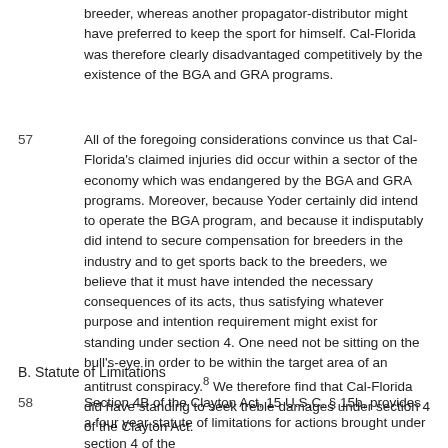breeder, whereas another propagator-distributor might have preferred to keep the sport for himself. Cal-Florida was therefore clearly disadvantaged competitively by the existence of the BGA and GRA programs.
57  All of the foregoing considerations convince us that Cal-Florida's claimed injuries did occur within a sector of the economy which was endangered by the BGA and GRA programs. Moreover, because Yoder certainly did intend to operate the BGA program, and because it indisputably did intend to secure compensation for breeders in the industry and to get sports back to the breeders, we believe that it must have intended the necessary consequences of its acts, thus satisfying whatever purpose and intention requirement might exist for standing under section 4. One need not be sitting on the bull's-eye in order to be within the target area of an antitrust conspiracy.8 We therefore find that Cal-Florida did have standing to seek treble damages under section 4 of the Clayton Act.
B. Statute of Limitations
58  Section 4B of the Clayton Act, 15 U.S.C. § 15b, provides a four year statute of limitations for actions brought under section 4 of the